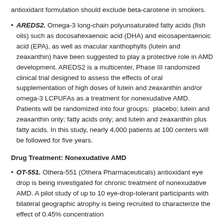antioxidant formulation should exclude beta-carotene in smokers.
AREDS2. Omega-3 long-chain polyunsaturated fatty acids (fish oils) such as docosahexaenoic acid (DHA) and eicosapentaenoic acid (EPA), as well as macular xanthophylls (lutein and zeaxanthin) have been suggested to play a protective role in AMD development. AREDS2 is a multicenter, Phase III randomized clinical trial designed to assess the effects of oral supplementation of high doses of lutein and zeaxanthin and/or omega-3 LCPUFAs as a treatment for nonexudative AMD. Patients will be randomized into four groups:  placebo; lutein and zeaxanthin only; fatty acids only; and lutein and zeaxanthin plus fatty acids. In this study, nearly 4,000 patients at 100 centers will be followed for five years.
Drug Treatment: Nonexudative AMD
OT-551. Othera-551 (Othera Pharmaceuticals) antioxidant eye drop is being investigated for chronic treatment of nonexudative AMD. A pilot study of up to 10 eye-drop-tolerant participants with bilateral geographic atrophy is being recruited to characterize the effect of 0.45% concentration